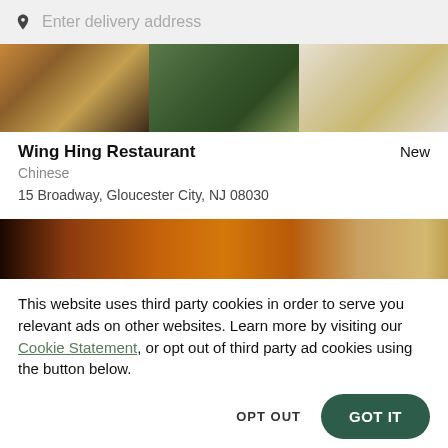[Figure (screenshot): Search bar with location pin icon and 'Enter delivery address' placeholder text]
[Figure (photo): Banner image showing three Chinese food dishes in bowls from above]
Wing Hing Restaurant
New
Chinese
15 Broadway, Gloucester City, NJ 08030
[Figure (photo): Close-up food photo showing a roasted or baked item, brownish tones]
This website uses third party cookies in order to serve you relevant ads on other websites. Learn more by visiting our Cookie Statement, or opt out of third party ad cookies using the button below.
OPT OUT
GOT IT